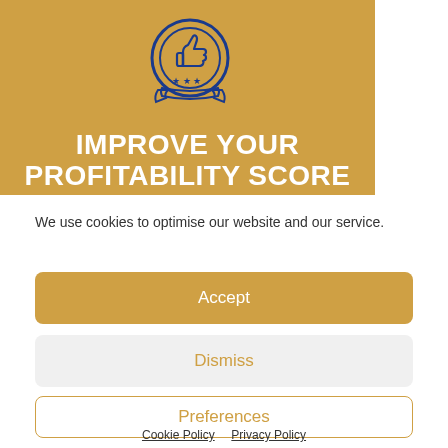[Figure (illustration): Badge/medal icon with thumbs up symbol, three stars, and ribbon banner, rendered in navy blue outline on gold background]
IMPROVE YOUR PROFITABILITY SCORE
We use cookies to optimise our website and our service.
Accept
Dismiss
Preferences
Cookie Policy  Privacy Policy